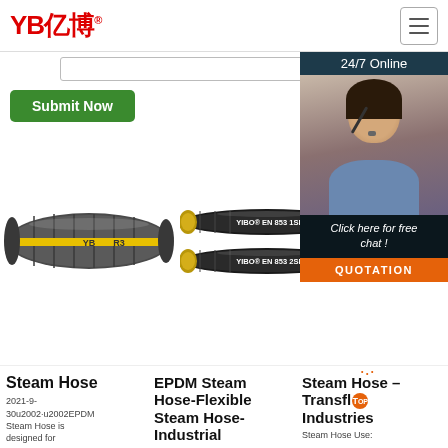[Figure (logo): YB亿博 logo in red with registered trademark symbol]
[Figure (screenshot): Search input bar]
Submit Now
[Figure (photo): Customer service representative with headset. 24/7 Online banner. Click here for free chat! QUOTATION button.]
[Figure (photo): Grey R3 hydraulic hose with YB branding and yellow stripe]
[Figure (photo): YIBO EN 853 1SN hydraulic hose]
[Figure (photo): YIBO EN 853 2SN hydraulic hose]
Steam Hose
2021-9-30u2002·u2002EPDM Steam Hose is designed for
EPDM Steam Hose-Flexible Steam Hose-Industrial
Steam Hose – Transflex TOP Industries
Steam Hose Use: